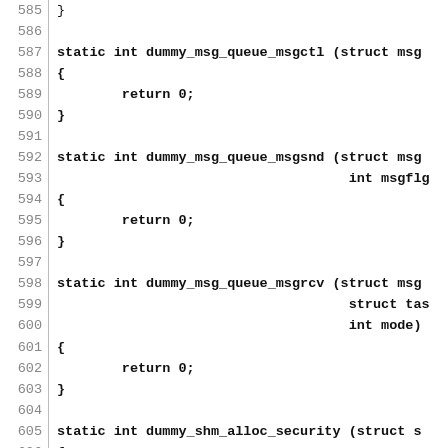Source code listing lines 585-615, showing C static function definitions: dummy_msg_queue_msgctl, dummy_msg_queue_msgsnd, dummy_msg_queue_msgrcv, dummy_shm_alloc_security, dummy_shm_free_security, dummy_shm_associate